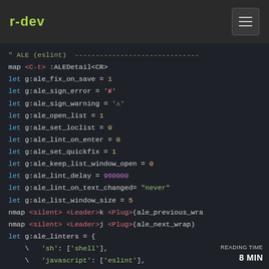r-dev
[Figure (screenshot): Dark-themed code editor screenshot showing Vim configuration for ALE (eslint) plugin with various let statements and nmap commands]
READING TIME 8 min